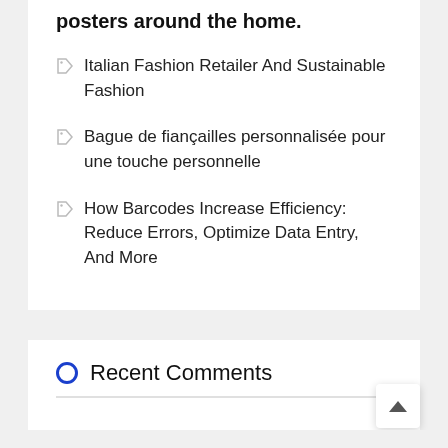posters around the home.
Italian Fashion Retailer And Sustainable Fashion
Bague de fiançailles personnalisée pour une touche personnelle
How Barcodes Increase Efficiency: Reduce Errors, Optimize Data Entry, And More
Recent Comments